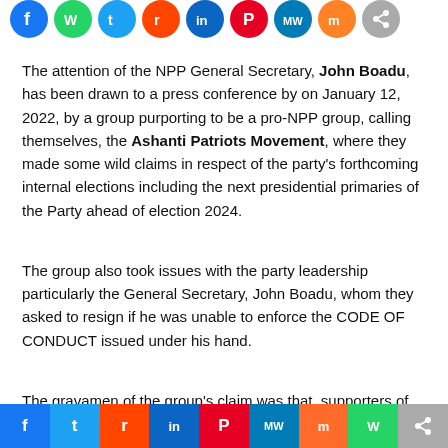[Figure (other): Row of social media share icons (Facebook, WhatsApp, Twitter, Reddit, LinkedIn, Pinterest, MeWe, Mix, Share) as colored circles at top of page]
The attention of the NPP General Secretary, John Boadu, has been drawn to a press conference by on January 12, 2022, by a group purporting to be a pro-NPP group, calling themselves, the Ashanti Patriots Movement, where they made some wild claims in respect of the party's forthcoming internal elections including the next presidential primaries of the Party ahead of election 2024.
The group also took issues with the party leadership particularly the General Secretary, John Boadu, whom they asked to resign if he was unable to enforce the CODE OF CONDUCT issued under his hand.
The gravamen of the group's claim was that, supporters of Hon. Alan Kyerematen were being victimized with suspensions for merely declaring support for the Trade Minister, whereas those who
[Figure (other): Bottom social media share bar with icons: Facebook (blue), Twitter (light blue), Reddit (orange-red), LinkedIn (blue), Pinterest (red), MeWe (dark blue), Mix (red-orange), WhatsApp (green), Share (gray)]